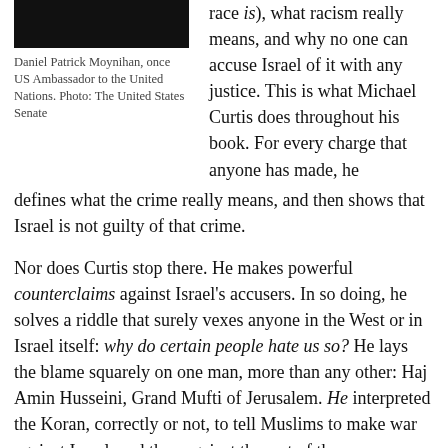[Figure (photo): Black and white photograph of Daniel Patrick Moynihan, cropped at top of page]
Daniel Patrick Moynihan, once US Ambassador to the United Nations. Photo: The United States Senate
race is), what racism really means, and why no one can accuse Israel of it with any justice. This is what Michael Curtis does throughout his book. For every charge that anyone has made, he defines what the crime really means, and then shows that Israel is not guilty of that crime.
Nor does Curtis stop there. He makes powerful counterclaims against Israel's accusers. In so doing, he solves a riddle that surely vexes anyone in the West or in Israel itself: why do certain people hate us so? He lays the blame squarely on one man, more than any other: Haj Amin Husseini, Grand Mufti of Jerusalem. He interpreted the Koran, correctly or not, to tell Muslims to make war against Israel, and then against the rest of the